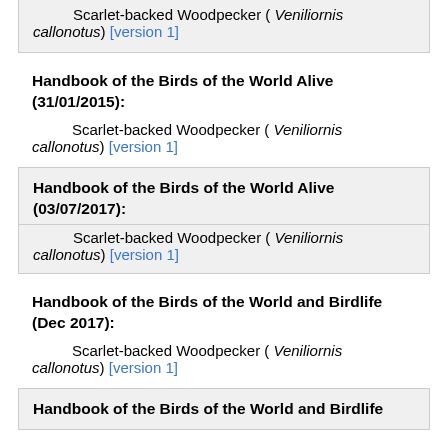Scarlet-backed Woodpecker ( Veniliornis callonotus) [version 1]
Handbook of the Birds of the World Alive (31/01/2015):
Scarlet-backed Woodpecker ( Veniliornis callonotus) [version 1]
Handbook of the Birds of the World Alive (03/07/2017):
Scarlet-backed Woodpecker ( Veniliornis callonotus) [version 1]
Handbook of the Birds of the World and Birdlife (Dec 2017):
Scarlet-backed Woodpecker ( Veniliornis callonotus) [version 1]
Handbook of the Birds of the World and Birdlife